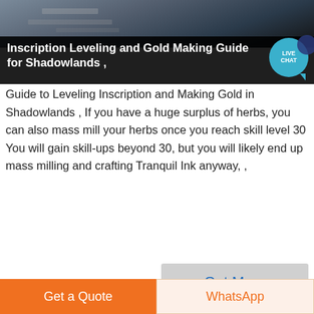[Figure (photo): Hero image with dark overlay showing indoor scene, with title text 'Inscription Leveling and Gold Making Guide for Shadowlands ,' and a live chat bubble badge]
Guide to Leveling Inscription and Making Gold in Shadowlands , If you have a huge surplus of herbs, you can also mass mill your herbs once you reach skill level 30 You will gain skill-ups beyond 30, but you will likely end up mass milling and crafting Tranquil Ink anyway, ,
Get More
[Figure (photo): Bottom image showing people in a scene with gray background]
Get a Quote | WhatsApp